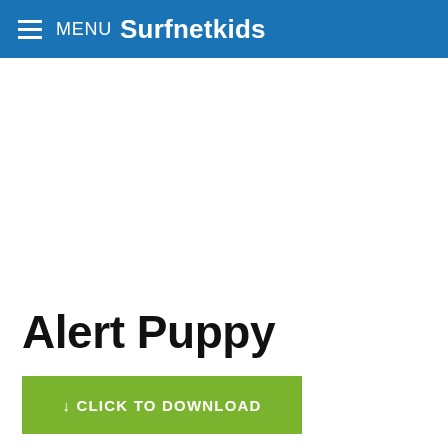MENU Surfnetkids
Alert Puppy
↓ CLICK TO DOWNLOAD